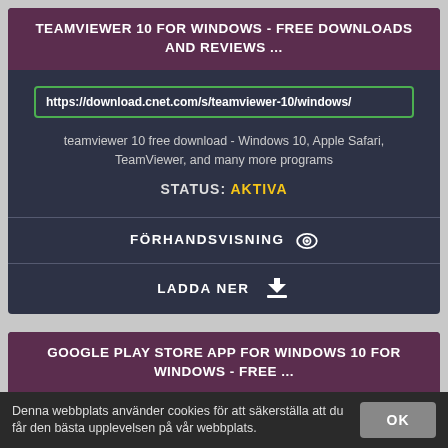TEAMVIEWER 10 FOR WINDOWS - FREE DOWNLOADS AND REVIEWS ...
https://download.cnet.com/s/teamviewer-10/windows/
teamviewer 10 free download - Windows 10, Apple Safari, TeamViewer, and many more programs
STATUS: AKTIVA
FÖRHANDSVISNING
LADDA NER
GOOGLE PLAY STORE APP FOR WINDOWS 10 FOR WINDOWS - FREE ...
https://download.cnet.com/s/google-play-store-app-for-windows-10/wind
Denna webbplats använder cookies för att säkerställa att du får den bästa upplevelsen på vår webbplats.